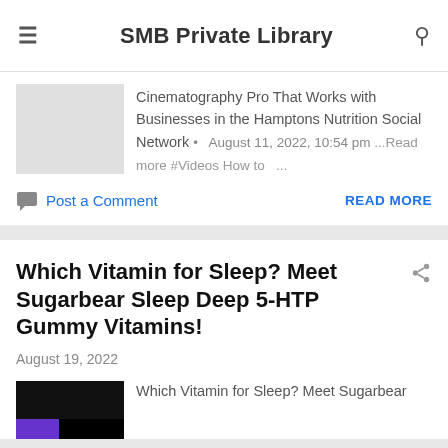SMB Private Library
Cinematography Pro That Works with Businesses in the Hamptons Nutrition Social Network  •  August 11, 2022, 10:54 pm ...Read more #Videos How to ...
Post a Comment   READ MORE
Which Vitamin for Sleep? Meet Sugarbear Sleep Deep 5-HTP Gummy Vitamins!
August 19, 2022
Which Vitamin for Sleep? Meet Sugarbear